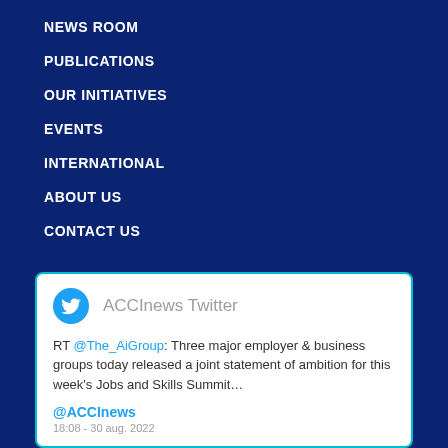NEWS ROOM
PUBLICATIONS
OUR INITIATIVES
EVENTS
INTERNATIONAL
ABOUT US
CONTACT US
[Figure (infographic): Twitter widget card with ACCInews Twitter header showing a retweet from @The_AiGroup about major employer and business groups releasing a joint statement for the Jobs and Skills Summit, with handle @ACCInews and timestamp 18:08 - 30 aug. 2022]
RT @The_AiGroup: Three major employer & business groups today released a joint statement of ambition for this week's Jobs and Skills Summit…
@ACCInews
18:08 - 30 aug. 2022